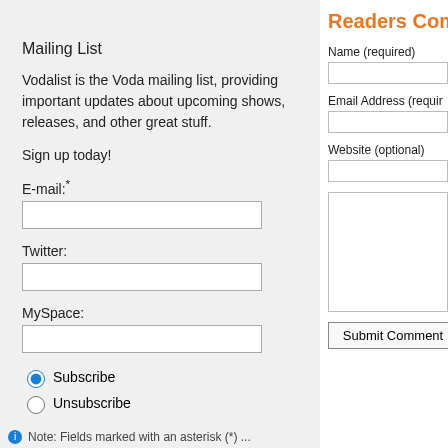Mailing List
Vodalist is the Voda mailing list, providing important updates about upcoming shows, releases, and other great stuff.
Sign up today!
E-mail:*
Twitter:
MySpace:
Subscribe
Unsubscribe
Submit
Note: Fields marked with an asterisk (*) ...
Readers Com
Name (required)
Email Address (requir
Website (optional)
Submit Comment